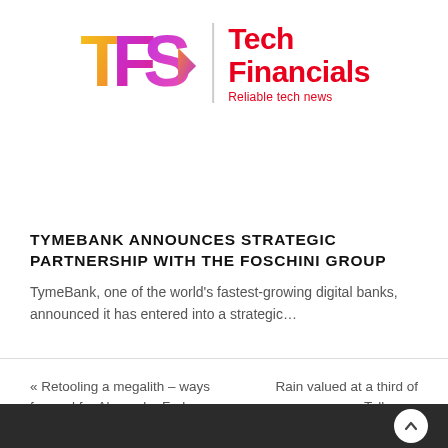[Figure (logo): TFS Tech Financials logo with colorful letters T, F, S and arrow, alongside red bold 'Tech Financials' text and tagline 'Reliable tech news']
TYMEBANK ANNOUNCES STRATEGIC PARTNERSHIP WITH THE FOSCHINI GROUP
TymeBank, one of the world's fastest-growing digital banks, announced it has entered into a strategic…
« Retooling a megalith – ways forward for Alexander Forbes   Rain valued at a third of Telkom »